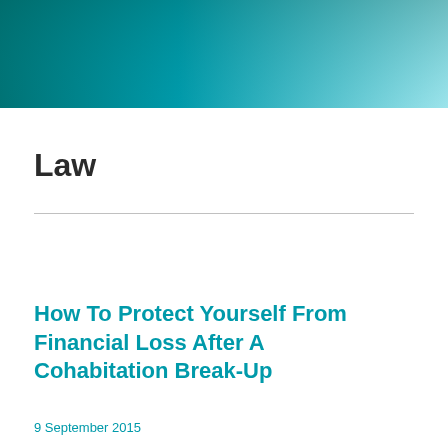[Figure (illustration): Teal/cyan gradient banner header spanning the full width of the page, transitioning from dark teal on the left to light cyan/white on the right]
Law
How To Protect Yourself From Financial Loss After A Cohabitation Break-Up
9 September 2015